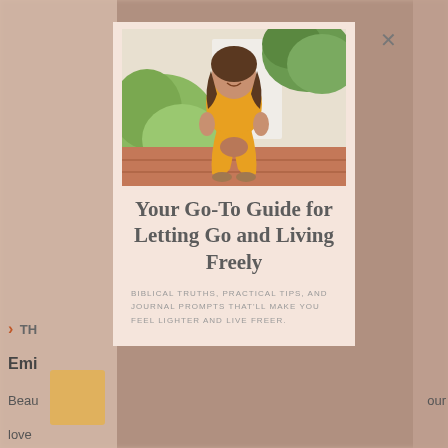[Figure (photo): Screenshot of a website popup/modal overlay. Behind the modal is a blurred webpage with partial text including an arrow, 'TH...', 'Emi...', 'Beau...', 'our', 'love'. The modal card has a pink/blush background and contains a photo of a smiling woman in a yellow outfit sitting on brick steps outdoors with greenery, a title, subtitle text, and an X close button.]
Your Go-To Guide for Letting Go and Living Freely
BIBLICAL TRUTHS, PRACTICAL TIPS, AND JOURNAL PROMPTS THAT'LL MAKE YOU FEEL LIGHTER AND LIVE FREER.